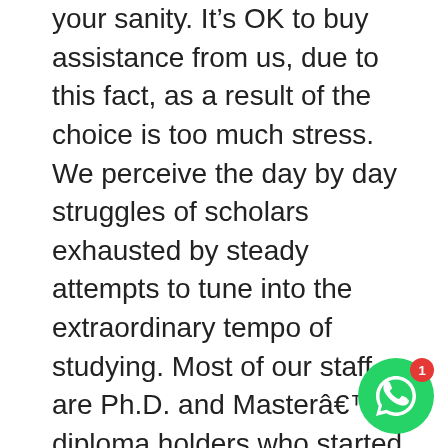your sanity. It’s OK to buy assistance from us, due to this fact, as a result of the choice is too much stress. We perceive the day by day struggles of scholars exhausted by steady attempts to tune into the extraordinary tempo of studying. Most of our staff are Ph.D. and Master’s diploma holders who started out this way. Essays, time period papers, theses, and heaps of different writing duties have been an integral a half of our lives, so we willingly respond to your write essay for me request. If your professor has assigned you a task, and you can’t totally comprehend all the requirements, do not worry, we received you covered.
However, this is the one method to be sure that we work with the most effective writers within the business. The final stage of the hiring process is a face-to-face inte... with the representatives of our company. At this lev... check private qualities and communicativeness of the